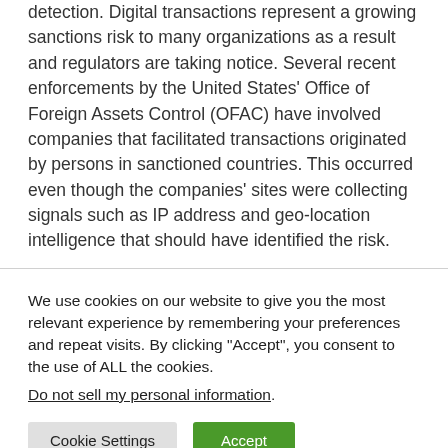detection. Digital transactions represent a growing sanctions risk to many organizations as a result and regulators are taking notice. Several recent enforcements by the United States' Office of Foreign Assets Control (OFAC) have involved companies that facilitated transactions originated by persons in sanctioned countries. This occurred even though the companies' sites were collecting signals such as IP address and geo-location intelligence that should have identified the risk.
We use cookies on our website to give you the most relevant experience by remembering your preferences and repeat visits. By clicking "Accept", you consent to the use of ALL the cookies.
Do not sell my personal information.